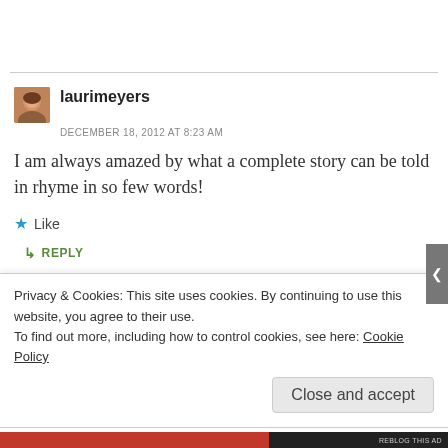[Figure (photo): Avatar photo of laurimeyers – small square portrait of a woman]
laurimeyers
DECEMBER 18, 2012 AT 8:23 AM
I am always amazed by what a complete story can be told in rhyme in so few words!
★ Like
↳ REPLY
Privacy & Cookies: This site uses cookies. By continuing to use this website, you agree to their use.
To find out more, including how to control cookies, see here: Cookie Policy
Close and accept